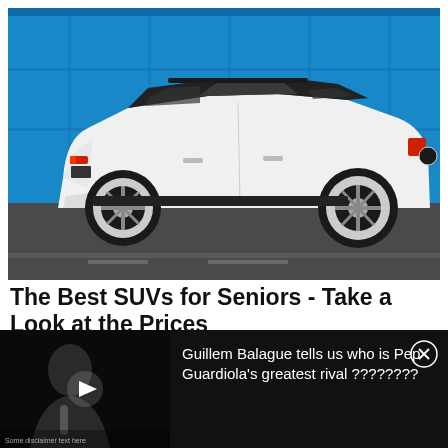[Figure (photo): A white Volvo XC40 SUV parked/driving on a road against a blue wall background]
The Best SUVs for Seniors - Take a Look at the Prices
Buying an SUV Doesn't Have to Be Expensive. Find Out
[Figure (screenshot): Video overlay showing a person with microphone, play button, and text: Guillem Balague tells us who is Pep Guardiola's greatest rival ????????]